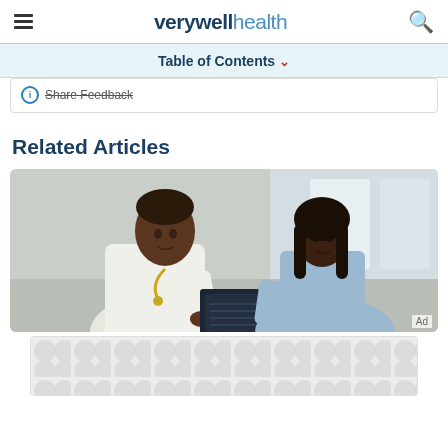verywell health
Table of Contents
Share Feedback
Related Articles
[Figure (photo): A doctor in a white coat with stethoscope reviewing an X-ray or document with a female patient]
Ad